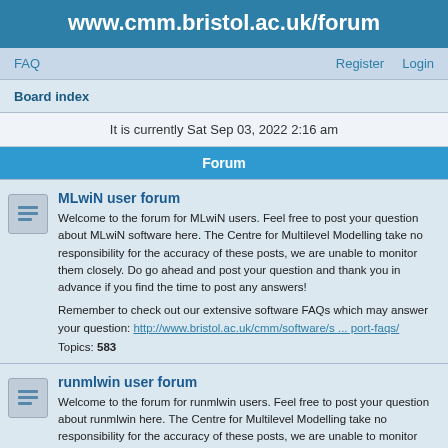www.cmm.bristol.ac.uk/forum
FAQ    Register    Login
Board index
It is currently Sat Sep 03, 2022 2:16 am
Forum
MLwiN user forum
Welcome to the forum for MLwiN users. Feel free to post your question about MLwiN software here. The Centre for Multilevel Modelling take no responsibility for the accuracy of these posts, we are unable to monitor them closely. Do go ahead and post your question and thank you in advance if you find the time to post any answers!

Remember to check out our extensive software FAQs which may answer your question: http://www.bristol.ac.uk/cmm/software/s ... port-faqs/
Topics: 583
runmlwin user forum
Welcome to the forum for runmlwin users. Feel free to post your question about runmlwin here. The Centre for Multilevel Modelling take no responsibility for the accuracy of these posts, we are unable to monitor them closely. Do go ahead and post your question and thank you in advance if you find the time to post any answers!

Go to runmlwin: Running MLwiN from within Stata >>
http://www.bristol.ac.uk/cmm/software/runmlwin/
Topics: 463
R2MLwiN user forum